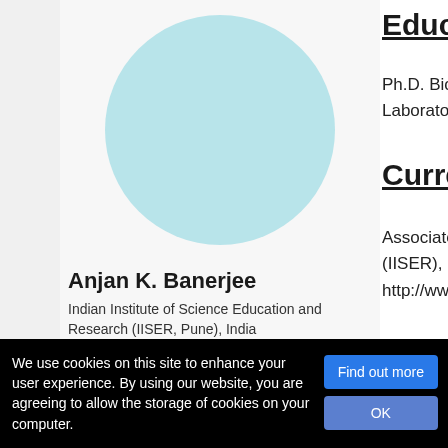[Figure (photo): Profile photo placeholder — light blue circle on gray background]
Anjan K. Banerjee
Indian Institute of Science Education and Research (IISER, Pune), India
Research focus
Education
Ph.D.  Biotechn... Laboratory (NC...
Current po...
Associate Profe... (IISER), Pune – 4... http://www.iiser...
Publication...
We use cookies on this site to enhance your user experience. By using our website, you are agreeing to allow the storage of cookies on your computer.